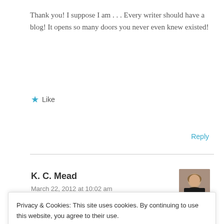Thank you! I suppose I am . . . Every writer should have a blog! It opens so many doors you never even knew existed!
★ Like
Reply
K. C. Mead
March 22, 2012 at 10:02 am
Privacy & Cookies: This site uses cookies. By continuing to use this website, you agree to their use.
To find out more, including how to control cookies, see here: Cookie Policy
Close and accept